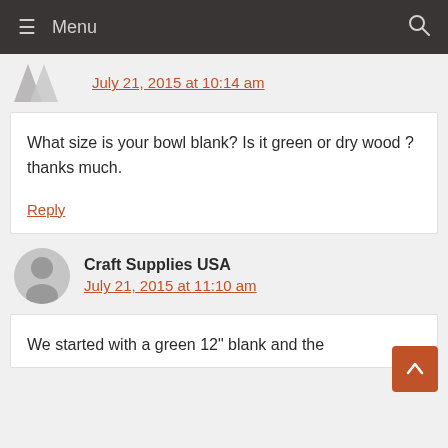Menu
July 21, 2015 at 10:14 am
What size is your bowl blank? Is it green or dry wood ? thanks much.
Reply
Craft Supplies USA
July 21, 2015 at 11:10 am
We started with a green 12" blank and the